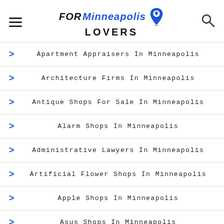FOR Minneapolis LOVERS
Apartment Appraisers In Minneapolis
Architecture Firms In Minneapolis
Antique Shops For Sale In Minneapolis
Alarm Shops In Minneapolis
Administrative Lawyers In Minneapolis
Artificial Flower Shops In Minneapolis
Apple Shops In Minneapolis
Asus Shops In Minneapolis